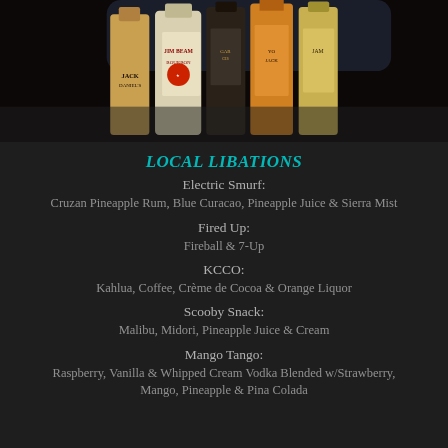[Figure (photo): Photograph of liquor bottles on a bar shelf including Jack Daniel's, Jim Beam Bourbon, Garces, and Jameson bottles]
LOCAL LIBATIONS
Electric Smurf:
Cruzan Pineapple Rum, Blue Curacao, Pineapple Juice & Sierra Mist
Fired Up:
Fireball & 7-Up
KCCO:
Kahlua, Coffee, Crème de Cocoa & Orange Liquor
Scooby Snack:
Malibu, Midori, Pineapple Juice & Cream
Mango Tango:
Raspberry, Vanilla & Whipped Cream Vodka Blended w/Strawberry, Mango, Pineapple & Pina Colada